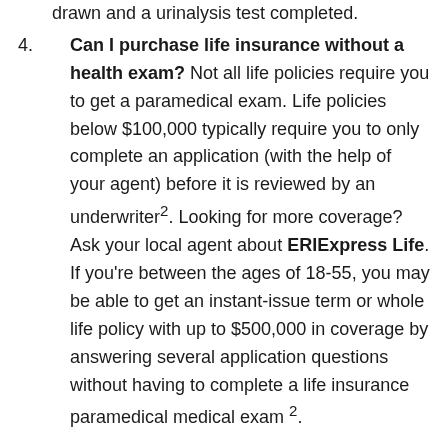drawn and a urinalysis test completed.
4. Can I purchase life insurance without a health exam? Not all life policies require you to get a paramedical exam. Life policies below $100,000 typically require you to only complete an application (with the help of your agent) before it is reviewed by an underwriter2. Looking for more coverage? Ask your local agent about ERIExpress Life. If you're between the ages of 18-55, you may be able to get an instant-issue term or whole life policy with up to $500,000 in coverage by answering several application questions without having to complete a life insurance paramedical medical exam 2.
5. Why should I think about life insurance if I'm young and healthy? Life insurance is a smart